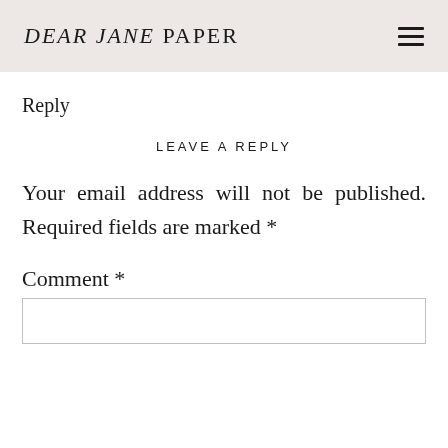DEAR JANE PAPER
Reply
LEAVE A REPLY
Your email address will not be published. Required fields are marked *
Comment *